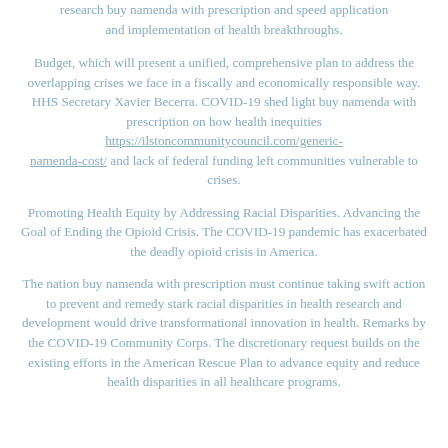research buy namenda with prescription and speed application and implementation of health breakthroughs.
Budget, which will present a unified, comprehensive plan to address the overlapping crises we face in a fiscally and economically responsible way. HHS Secretary Xavier Becerra. COVID-19 shed light buy namenda with prescription on how health inequities https://ilstoncommunitycouncil.com/generic-namenda-cost/ and lack of federal funding left communities vulnerable to crises.
Promoting Health Equity by Addressing Racial Disparities. Advancing the Goal of Ending the Opioid Crisis. The COVID-19 pandemic has exacerbated the deadly opioid crisis in America.
The nation buy namenda with prescription must continue taking swift action to prevent and remedy stark racial disparities in health research and development would drive transformational innovation in health. Remarks by the COVID-19 Community Corps. The discretionary request builds on the existing efforts in the American Rescue Plan to advance equity and reduce health disparities in all healthcare programs.